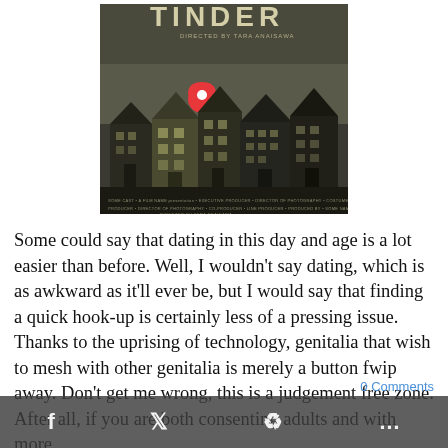[Figure (illustration): Movie poster for 'TINDER' — dark moody poster showing silhouettes of row houses/buildings with a red location pin above them, and small text credits at the bottom.]
Some could say that dating in this day and age is a lot easier than before. Well, I wouldn't say dating, which is as awkward as it'll ever be, but I would say that finding a quick hook-up is certainly less of a pressing issue. Thanks to the uprising of technology, genitalia that wish to mesh with other genitalia is merely a button fwip away. Don't get me wrong, this is a judgement free zone. After all, if you are both consenting adults and with more